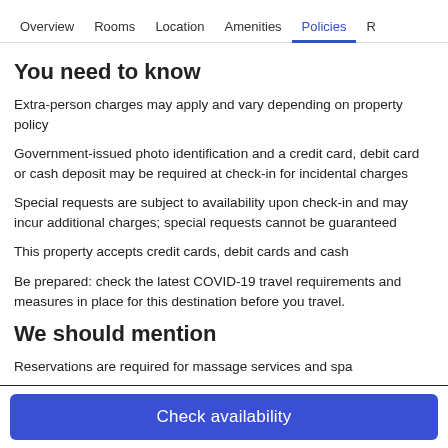Overview | Rooms | Location | Amenities | Policies | R
You need to know
Extra-person charges may apply and vary depending on property policy
Government-issued photo identification and a credit card, debit card or cash deposit may be required at check-in for incidental charges
Special requests are subject to availability upon check-in and may incur additional charges; special requests cannot be guaranteed
This property accepts credit cards, debit cards and cash
Be prepared: check the latest COVID-19 travel requirements and measures in place for this destination before you travel.
We should mention
Reservations are required for massage services and spa
Check availability